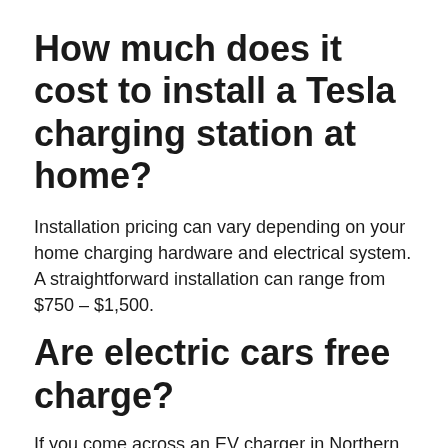How much does it cost to install a Tesla charging station at home?
Installation pricing can vary depending on your home charging hardware and electrical system. A straightforward installation can range from $750 – $1,500.
Are electric cars free charge?
If you come across an EV charger in Northern Ireland, for instance, it's highly likely it will be free to use. … In contrast, Greater London's 398 free chargers comprise only 5% of its total number of charging devices